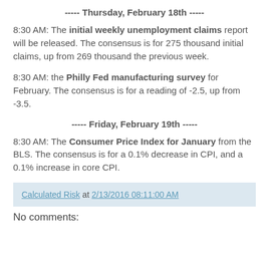----- Thursday, February 18th -----
8:30 AM: The initial weekly unemployment claims report will be released. The consensus is for 275 thousand initial claims, up from 269 thousand the previous week.
8:30 AM: the Philly Fed manufacturing survey for February. The consensus is for a reading of -2.5, up from -3.5.
----- Friday, February 19th -----
8:30 AM: The Consumer Price Index for January from the BLS. The consensus is for a 0.1% decrease in CPI, and a 0.1% increase in core CPI.
Calculated Risk at 2/13/2016 08:11:00 AM
No comments: